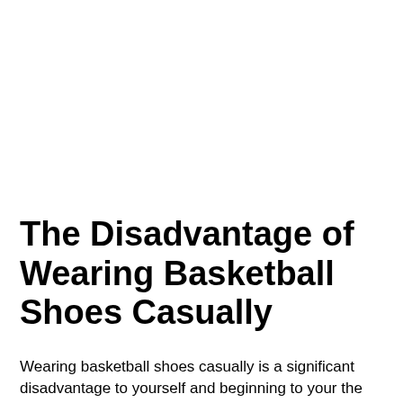The Disadvantage of Wearing Basketball Shoes Casually
Wearing basketball shoes casually is a significant disadvantage to yourself because it means the...